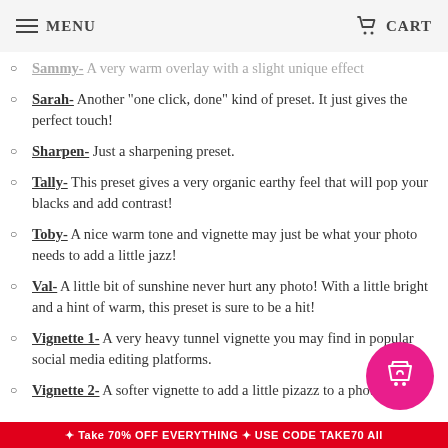MENU | CART
Sammy- A very warm overlay with a slight unique effect
Sarah- Another "one click, done" kind of preset. It just gives the perfect touch!
Sharpen- Just a sharpening preset.
Tally- This preset gives a very organic earthy feel that will pop your blacks and add contrast!
Toby- A nice warm tone and vignette may just be what your photo needs to add a little jazz!
Val- A little bit of sunshine never hurt any photo! With a little bright and a hint of warm, this preset is sure to be a hit!
Vignette 1- A very heavy tunnel vignette you may find in popular social media editing platforms.
Vignette 2- A softer vignette to add a little pizazz to a photo!
Take 70% OFF EVERYTHING · USE CODE TAKE70 All